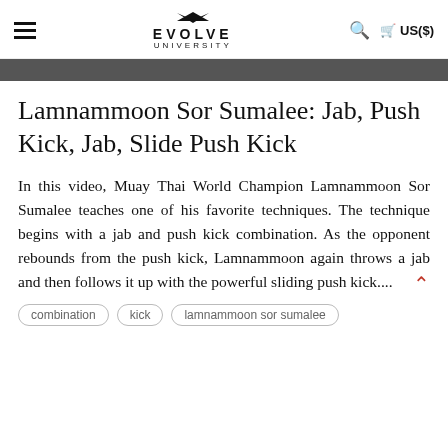EVOLVE UNIVERSITY
[Figure (photo): Dark hero image banner at top of article page]
Lamnammoon Sor Sumalee: Jab, Push Kick, Jab, Slide Push Kick
In this video, Muay Thai World Champion Lamnammoon Sor Sumalee teaches one of his favorite techniques. The technique begins with a jab and push kick combination. As the opponent rebounds from the push kick, Lamnammoon again throws a jab and then follows it up with the powerful sliding push kick....
combination
kick
lamnammoon sor sumalee